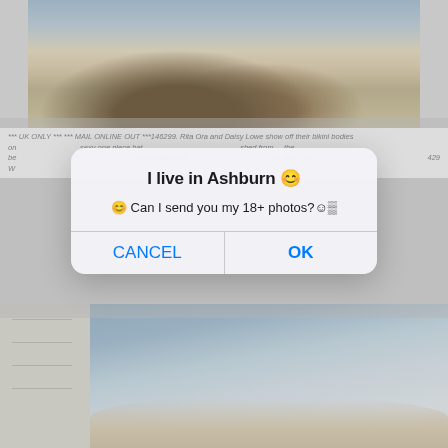[Figure (screenshot): Background screenshot of a web page showing photos of people on a beach, with a modal dialog overlay. The dialog reads 'I live in Ashburn' with message 'Can I send you my 18+ photos?' and CANCEL / OK buttons.]
*** UK ONLY *** *** MAIL ONLINE OUT ***146299. Rita Ora and Daisy Lowe show off their bikini bodies on... sexy one piece bat... hed from the be... News / Barcroft... ne, New York ... 429 W
www.barcroftindia.com